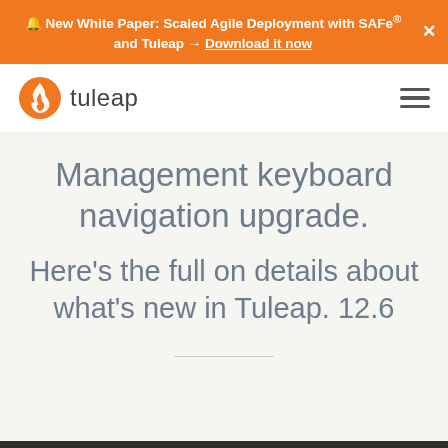🔔 New White Paper: Scaled Agile Deployment with SAFe® and Tuleap → Download it now ×
[Figure (logo): Tuleap logo with orange flame icon and wordmark 'tuleap']
Management keyboard navigation upgrade.
Here's the full on details about what's new in Tuleap. 12.6